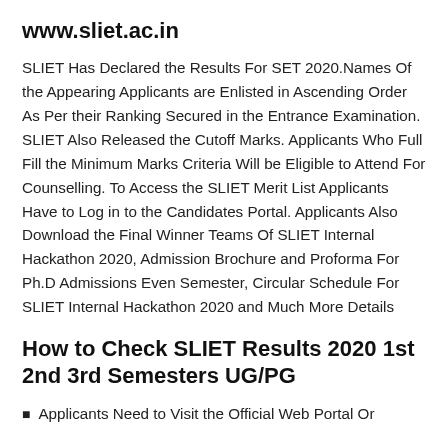www.sliet.ac.in
SLIET Has Declared the Results For SET 2020.Names Of the Appearing Applicants are Enlisted in Ascending Order As Per their Ranking Secured in the Entrance Examination. SLIET Also Released the Cutoff Marks. Applicants Who Full Fill the Minimum Marks Criteria Will be Eligible to Attend For Counselling. To Access the SLIET Merit List Applicants Have to Log in to the Candidates Portal. Applicants Also Download the Final Winner Teams Of SLIET Internal Hackathon 2020, Admission Brochure and Proforma For Ph.D Admissions Even Semester, Circular Schedule For SLIET Internal Hackathon 2020 and Much More Details
How to Check SLIET Results 2020 1st 2nd 3rd Semesters UG/PG
Applicants Need to Visit the Official Web Portal Or